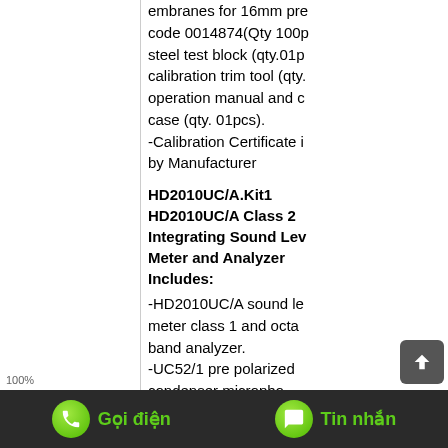embranes for 16mm pre... code 0014874(Qty 100p... steel test block (qty.01p... calibration trim tool (qty.... operation manual and c... case (qty. 01pcs). -Calibration Certificate i... by Manufacturer
HD2010UC/A.Kit1 HD2010UC/A Class 2 Integrating Sound Level Meter and Analyzer Includes:
-HD2010UC/A sound level meter class 1 and octave band analyzer. -UC52/1 pre polarized condenser microphone. -HDSAV windscreen. -HD... preamp...
100%  |  Gọi điện  |  Tin nhắn